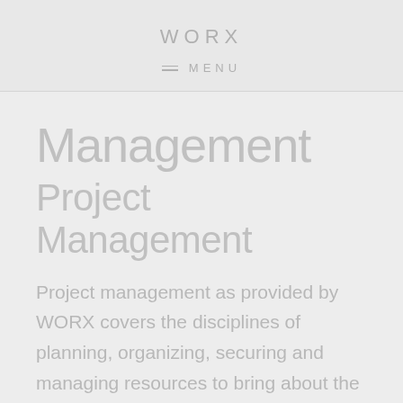WORX
≡ MENU
Management
Project Management
Project management as provided by WORX covers the disciplines of planning, organizing, securing and managing resources to bring about the successful completion of specific project goals and